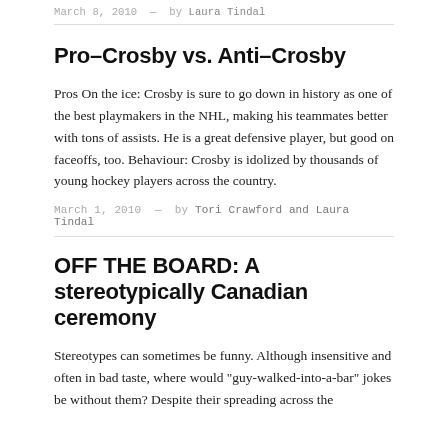March 8, 2010 — by Laura Tindal
Pro–Crosby vs. Anti–Crosby
Pros On the ice: Crosby is sure to go down in history as one of the best playmakers in the NHL, making his teammates better with tons of assists. He is a great defensive player, but good on faceoffs, too. Behaviour: Crosby is idolized by thousands of young hockey players across the country.
March 1, 2010 — by Tori Crawford and Laura Tindal
OFF THE BOARD: A stereotypically Canadian ceremony
Stereotypes can sometimes be funny. Although insensitive and often in bad taste, where would "guy-walked-into-a-bar" jokes be without them? Despite their spreading across the